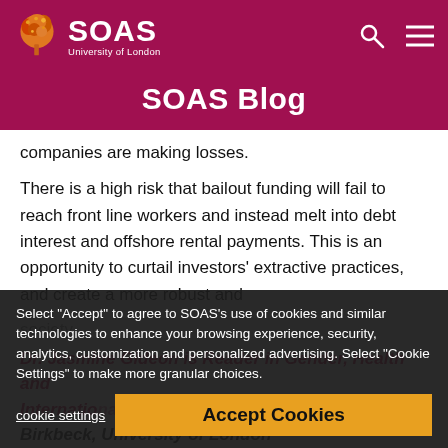SOAS University of London
SOAS Blog
companies are making losses.
There is a high risk that bailout funding will fail to reach front line workers and instead melt into debt interest and offshore rental payments. This is an opportunity to curtail investors' extractive practices, and create a more robust and
society.
Dr. Jasmine Gideon is Reader in Gender, Health and
International Development at
Birkbeck, University of London
Select "Accept" to agree to SOAS's use of cookies and similar technologies to enhance your browsing experience, security, analytics, customization and personalized advertising. Select "Cookie Settings" to make more granular choices.